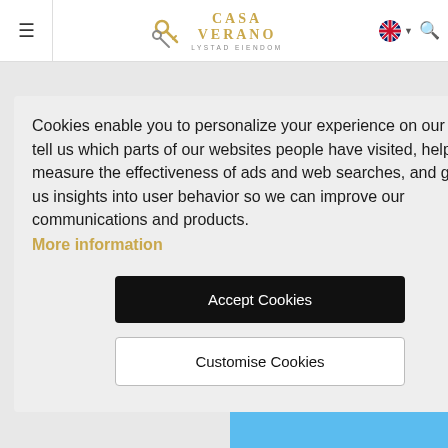Casa Verano — Lystad Eiendom
[Figure (screenshot): Cookie consent overlay on a real estate website (Casa Verano / Lystad Eiendom). The header shows a hamburger menu icon, the Casa Verano logo with keys graphic, a UK flag language selector, and a search icon. Behind the overlay are a pink box, a gold 'ORMATION' button, and a photo of white buildings with a tree against a blue sky. The overlay contains cookie consent text, a gold 'More information' link, a black 'Accept Cookies' button, and a white 'Customise Cookies' button.]
Cookies enable you to personalize your experience on our site, tell us which parts of our websites people have visited, help us measure the effectiveness of ads and web searches, and give us insights into user behavior so we can improve our communications and products.
More information
Accept Cookies
Customise Cookies